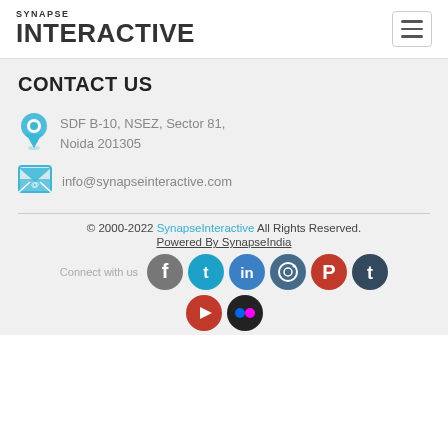SYNAPSE INTERACTIVE
CONTACT US
SDF B-10, NSEZ, Sector 81, Noida 201305
info@synapseinteractive.com
© 2000-2022 SynapseInteractive All Rights Reserved. Powered By SynapseIndia
Connect with us